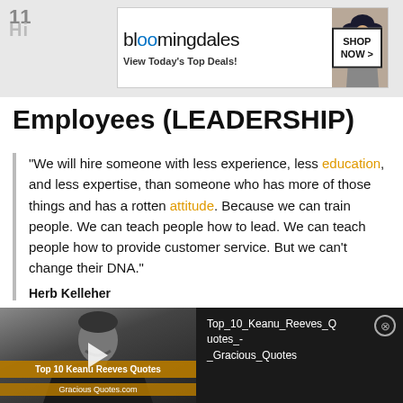11
[Figure (infographic): Bloomingdale's advertisement banner: logo, 'View Today's Top Deals!', woman with hat image, 'SHOP NOW >' button]
Employees (LEADERSHIP)
“We will hire someone with less experience, less education, and less expertise, than someone who has more of those things and has a rotten attitude. Because we can train people. We can teach people how to lead. We can teach people how to provide customer service. But we can’t change their DNA.”
Herb Kelleher
[Figure (screenshot): Video thumbnail showing 'Top 10 Keanu Reeves Quotes' with grayscale photo of man and play button, alongside black panel with text 'Top_10_Keanu_Reeves_Quotes_-_Gracious_Quotes' and a close button]